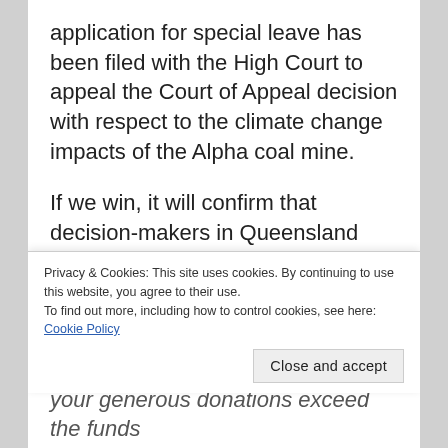application for special leave has been filed with the High Court to appeal the Court of Appeal decision with respect to the climate change impacts of the Alpha coal mine.
If we win, it will confirm that decision-makers in Queensland have to consider the environmental harm from large coal mines on our climate and the Reef. Please, help us take Australia's first climate case to the High Court by making a tax-deductible donation to EDO
Privacy & Cookies: This site uses cookies. By continuing to use this website, you agree to their use.
To find out more, including how to control cookies, see here: Cookie Policy
Close and accept
your generous donations exceed the funds